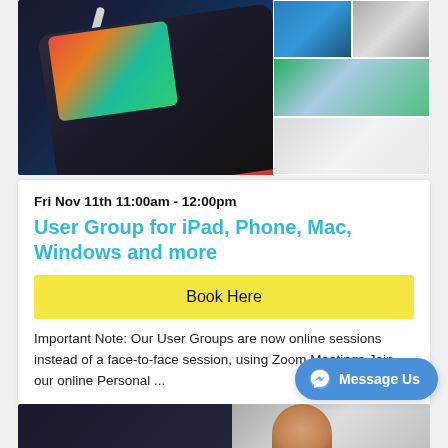[Figure (photo): Composite image: left side shows an iPad with Apple Pencil on a dark surface, right side shows a 2x3 grid of Zoom video call participants.]
Fri Nov 11th 11:00am - 12:00pm
User Group for iPad, Phone, Mac, Windows and more
Book Here
Important Note: Our User Groups are now online sessions instead of a face-to-face session, using Zoom Meetings Join our online Personal ...
[Figure (screenshot): Message Us button with Facebook Messenger icon, blue rounded rectangle.]
[Figure (photo): Partial view of another event card image at the bottom of the page, showing a dark left panel and a person on the right.]